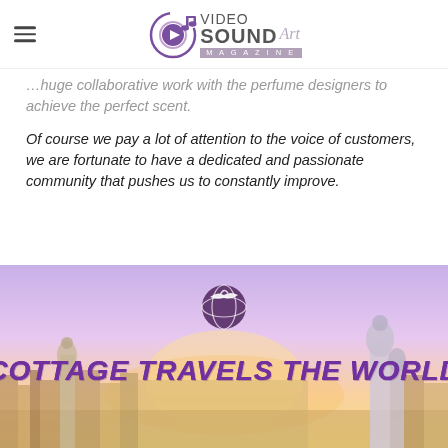Video Sound Art Magazine logo with hamburger menu
...huge collaborative work with the perfume designers to achieve the perfect scent.
Of course we pay a lot of attention to the voice of customers, we are fortunate to have a dedicated and passionate community that pushes us to constantly improve.
[Figure (illustration): Cottage Travels The World banner/advertisement image showing a cityscape of Barcelona (Park Guell) at sunset with purple/pink sky, globe with bird logo, and stylized text 'COTTAGE TRAVELS THE WORLD' in purple handwritten font]